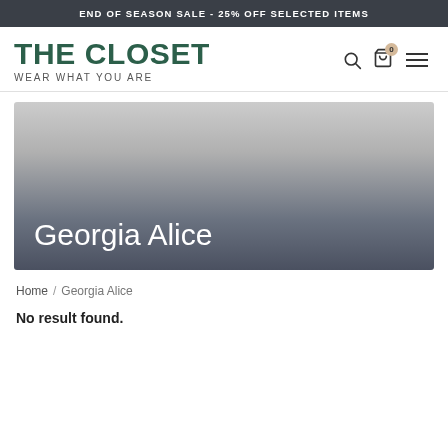END OF SEASON SALE - 25% OFF SELECTED ITEMS
THE CLOSET
WEAR WHAT YOU ARE
[Figure (illustration): Hero banner with gradient from light grey at top to dark slate at bottom, with white text 'Georgia Alice' in the lower left]
Home / Georgia Alice
No result found.